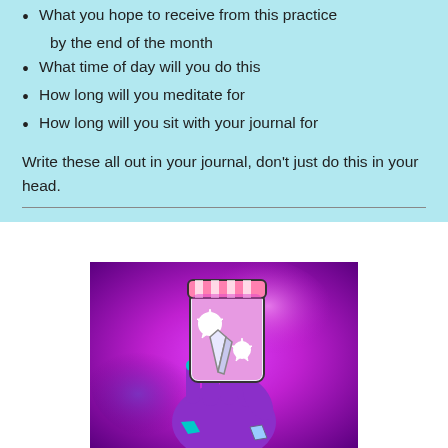What you hope to receive from this practice by the end of the month
What time of day will you do this
How long will you meditate for
How long will you sit with your journal for
Write these all out in your journal, don't just do this in your head.
[Figure (illustration): Illustration of a purple hand holding a glowing jar or candle with crystals, against a purple/magenta watercolor background. The jar has pink and white striped top, star burst decorations, and a crystal inside.]